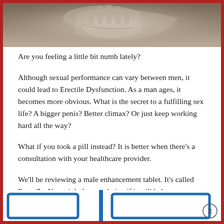[Figure (photo): Cropped photo showing hands holding what appears to be an X-ray or medical image, partially visible at top of page.]
Are you feeling a little bit numb lately?
Although sexual performance can vary between men, it could lead to Erectile Dysfunction. As a man ages, it becomes more obvious. What is the secret to a fulfilling sex life? A bigger penis? Better climax? Or just keep working hard all the way?
What if you took a pill instead? It is better when there's a consultation with your healthcare provider.
We'll be reviewing a male enhancement tablet. It's called ExtenZe. You might be wondering if it will help your sex drive.
Let's see!
[Figure (logo): Partial logo/product image at bottom of page with blue rectangular shapes and a registered trademark symbol.]